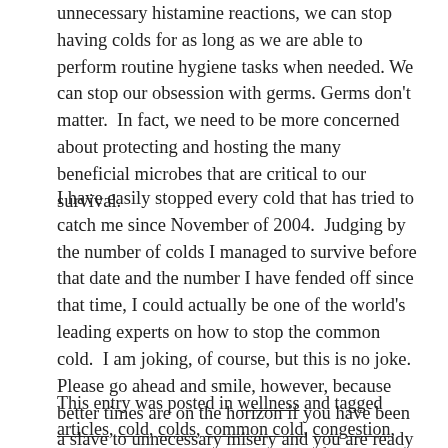unnecessary histamine reactions, we can stop having colds for as long as we are able to perform routine hygiene tasks when needed. We can stop our obsession with germs. Germs don't matter.  In fact, we need to be more concerned about protecting and hosting the many beneficial microbes that are critical to our survival.
I have easily stopped every cold that has tried to catch me since November of 2004.  Judging by the number of colds I managed to survive before that date and the number I have fended off since that time, I could actually be one of the world's leading experts on how to stop the common cold.  I am joking, of course, but this is no joke.  Please go ahead and smile, however, because better times are on the horizon if you have been a slave to unnecessary misery and you are ready to take a new approach.
This entry was posted in wellness and tagged articles, cold, colds, common cold, congestion, germs, health, microbes, science, self-